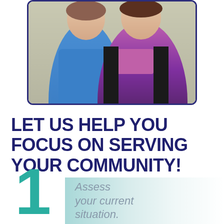[Figure (photo): Two women posing together; one wearing a blue top and the other wearing a magenta/pink top with a black jacket. Photo has rounded corners with a dark purple/navy border.]
LET US HELP YOU FOCUS ON SERVING YOUR COMMUNITY!
1 Assess your current situation.